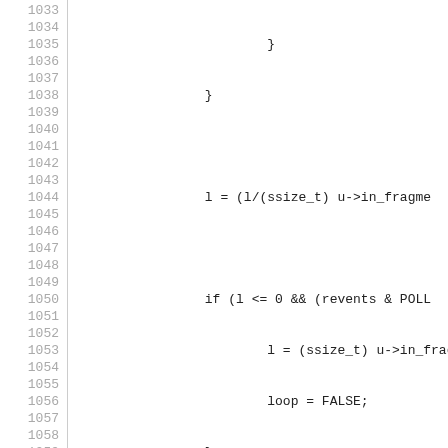Source code lines 1033-1062 showing C code with line numbers. Code includes closing braces, variable assignments, conditional statements (if/while), function calls to pa_assert, memchunk.memblock, pa_memblock_get_length, pa_memblock_acquire, pa_read, pa_memblock_release, and pa_assert.